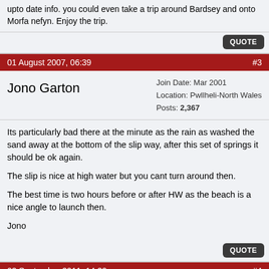upto date info. you could even take a trip around Bardsey and onto Morfa nefyn. Enjoy the trip.
QUOTE
01 August 2007, 06:39   #3
Jono Garton
Join Date: Mar 2001
Location: Pwllheli-North Wales
Posts: 2,367
Its particularly bad there at the minute as the rain as washed the sand away at the bottom of the slip way, after this set of springs it should be ok again.

The slip is nice at high water but you cant turn around then.

The best time is two hours before or after HW as the beach is a nice angle to launch then.

Jono
QUOTE
02 September 2011, 14:20   #4